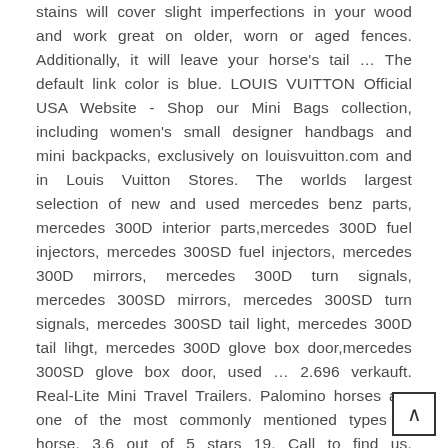stains will cover slight imperfections in your wood and work great on older, worn or aged fences. Additionally, it will leave your horse's tail … The default link color is blue. LOUIS VUITTON Official USA Website - Shop our Mini Bags collection, including women's small designer handbags and mini backpacks, exclusively on louisvuitton.com and in Louis Vuitton Stores. The worlds largest selection of new and used mercedes benz parts, mercedes 300D interior parts,mercedes 300D fuel injectors, mercedes 300SD fuel injectors, mercedes 300D mirrors, mercedes 300D turn signals, mercedes 300SD mirrors, mercedes 300SD turn signals, mercedes 300SD tail light, mercedes 300D tail lihgt, mercedes 300D glove box door,mercedes 300SD glove box door, used … 2.696 verkauft. Real-Lite Mini Travel Trailers. Palomino horses are one of the most commonly mentioned types of horse. 3.6 out of 5 stars 19. Call to find us. Versand. So vor eine paar Tagen fand ich dann das die Farbe mit der Weile schon zu sehr ausgewaschen ist und habe sie mir diesmal in Granatrot getönt. We hope you enjoy shopping at UpholsterySupplyOnline.com t Bel Kern Upholstery Supply, SEM 15323 Palomino Plastic and Vin Color Coat. Dòng sản phẩm chiết xuất từ thiên nhiên, chăm sóc tóc